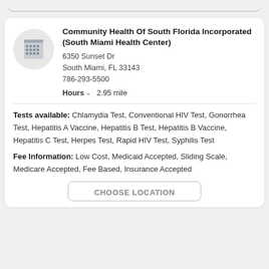Community Health Of South Florida Incorporated (South Miami Health Center)
6350 Sunset Dr
South Miami, FL 33143
786-293-5500
Hours  2.95 mile
Tests available: Chlamydia Test, Conventional HIV Test, Gonorrhea Test, Hepatitis A Vaccine, Hepatitis B Test, Hepatitis B Vaccine, Hepatitis C Test, Herpes Test, Rapid HIV Test, Syphilis Test
Fee Information: Low Cost, Medicaid Accepted, Sliding Scale, Medicare Accepted, Fee Based, Insurance Accepted
CHOOSE LOCATION